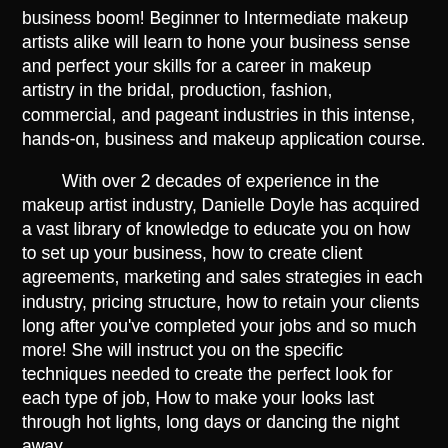business boom! Beginner to Intermediate makeup artists alike will learn to hone your business sense and perfect your skills for a career in makeup artistry in the bridal, production, fashion, commercial, and pageant industries in this intense, hands-on, business and makeup application course.
With over 2 decades of experience in the makeup artist industry, Danielle Doyle has acquired a vast library of knowledge to educate you on how to set up your business, how to create client agreements, marketing and sales strategies in each industry, pricing structure, how to retain your clients long after you've completed your jobs and so much more! She will instruct you on the specific techniques needed to create the perfect look for each type of job, How to make your looks last through hot lights, long days or dancing the night away.
The TPF Certification course is an intense,